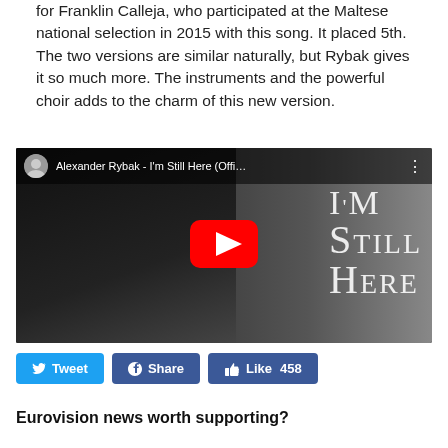for Franklin Calleja, who participated at the Maltese national selection in 2015 with this song. It placed 5th. The two versions are similar naturally, but Rybak gives it so much more. The instruments and the powerful choir adds to the charm of this new version.
[Figure (screenshot): YouTube video thumbnail for Alexander Rybak - I'm Still Here (Official...) showing Alexander Rybak holding a violin against a dark background, with large serif text 'I'm Still Here' and a red YouTube play button.]
Tweet  Share  Like 458
Eurovision news worth supporting?